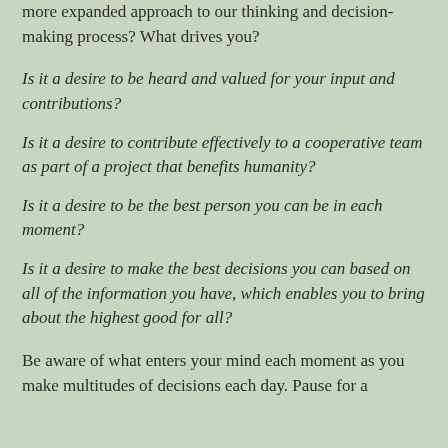more expanded approach to our thinking and decision-making process? What drives you?
Is it a desire to be heard and valued for your input and contributions?
Is it a desire to contribute effectively to a cooperative team as part of a project that benefits humanity?
Is it a desire to be the best person you can be in each moment?
Is it a desire to make the best decisions you can based on all of the information you have, which enables you to bring about the highest good for all?
Be aware of what enters your mind each moment as you make multitudes of decisions each day. Pause for a